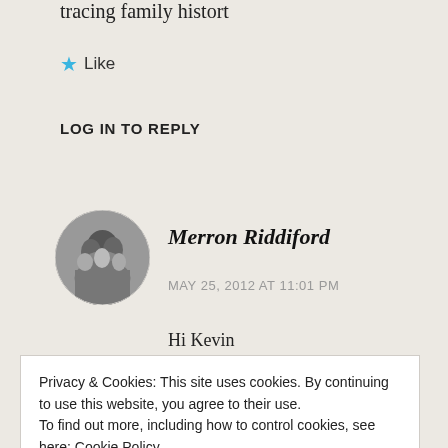tracing family histort
★ Like
LOG IN TO REPLY
[Figure (photo): Black and white circular avatar photo showing a group of people, vintage style.]
Merron Riddiford
MAY 25, 2012 AT 11:01 PM
Hi Kevin
Privacy & Cookies: This site uses cookies. By continuing to use this website, you agree to their use.
To find out more, including how to control cookies, see here: Cookie Policy
Close and accept
done a little bit of research on them